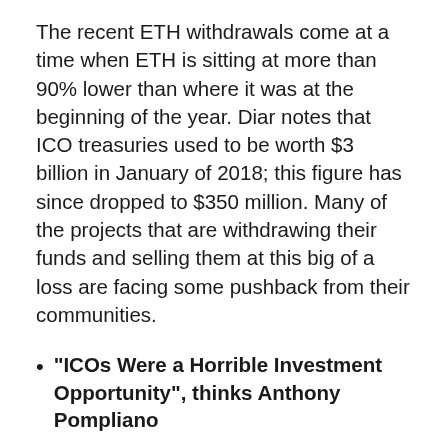The recent ETH withdrawals come at a time when ETH is sitting at more than 90% lower than where it was at the beginning of the year. Diar notes that ICO treasuries used to be worth $3 billion in January of 2018; this figure has since dropped to $350 million. Many of the projects that are withdrawing their funds and selling them at this big of a loss are facing some pushback from their communities.
“ICOs Were a Horrible Investment Opportunity”, thinks Anthony Pompliano
Data aggregating platform LongHash recently held a short Q&A with Anthony Pompliano, the founder and partner at digital asset